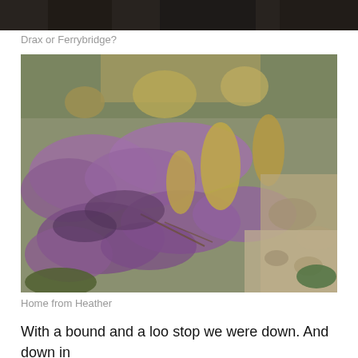[Figure (photo): Partial view of a top image, appears to be a dark industrial or landscape photo, cropped at the top of the page]
Drax or Ferrybridge?
[Figure (photo): Photograph of heather plants with purple flowers growing among grass and gravel on a hillside landscape]
Home from Heather
With a bound and a loo stop we were down. And down in